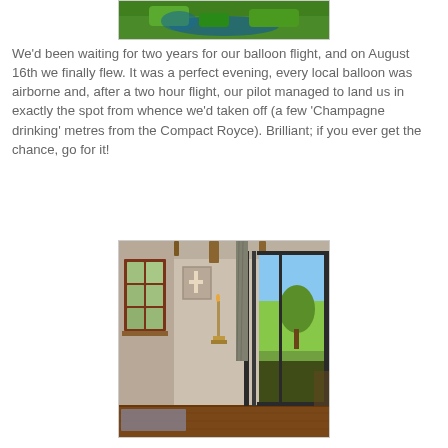[Figure (photo): Aerial view of green landscape with river or water visible below]
We'd been waiting for two years for our balloon flight, and on August 16th we finally flew. It was a perfect evening, every local balloon was airborne and, after a two hour flight, our pilot managed to land us in exactly the spot from whence we'd taken off (a few 'Champagne drinking' metres from the Compact Royce). Brilliant; if you ever get the chance, go for it!
[Figure (photo): Interior room photo showing a rustic room with a wooden-framed window on the left, a wall decoration with a cross, a tall candle holder, and a large sliding glass door on the right leading to a green outdoor view with trees]